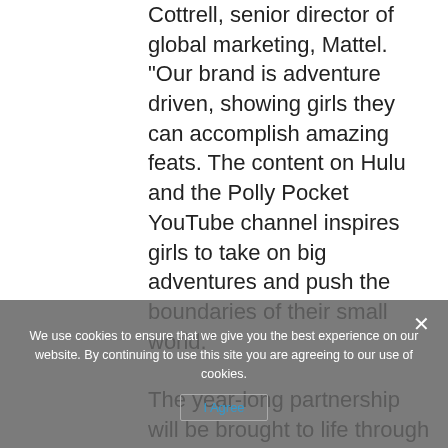Cottrell, senior director of global marketing, Mattel. "Our brand is adventure driven, showing girls they can accomplish amazing feats. The content on Hulu and the Polly Pocket YouTube channel inspires girls to take on big adventures and push the boundaries of their small world."
The year-long partnership will be brought to life through content across social and digital platforms. The Polly Pocket brand will also gift a one-of-a-kind micro doll set in Brown's likeness to celebrate her skateboarding accomplishments.
"I want to inspire girls around the world to chase their dreams no matter what! When the Polly Pocket brand told me their messaging was "Tiny is Mighty" I felt that they were describing me," said Sky Brown. "I want to...
We use cookies to ensure that we give you the best experience on our website. By continuing to use this site you are agreeing to our use of cookies.